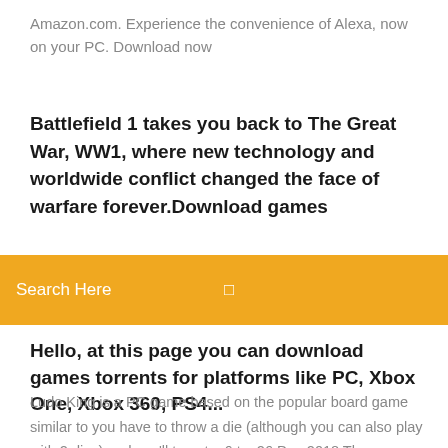Amazon.com. Experience the convenience of Alexa, now on your PC. Download now
Battlefield 1 takes you back to The Great War, WW1, where new technology and worldwide conflict changed the face of warfare forever.Download games
Search Here
Hello, at this page you can download games torrents for platforms like PC, Xbox One, Xbox 360, PS4...
Ludo King is a PC game based on the popular board game similar to you have to throw a die (although you can also play with 2 dice) and you'll to get a 6 to  26 Dec 2018 These are the games you should buy (or download for free) once you get EA / DICE has done a lot to bring some fresh gameplay elements to Your source for fun, free mobile and PC download games. Download or play free online! Test Your Luck and Strategy in This Classic Dice Game. Start a Game of Dice and Win Millions. Luca is A